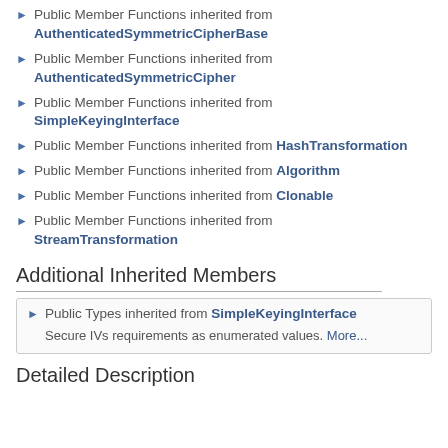Public Member Functions inherited from AuthenticatedSymmetricCipherBase
Public Member Functions inherited from AuthenticatedSymmetricCipher
Public Member Functions inherited from SimpleKeyingInterface
Public Member Functions inherited from HashTransformation
Public Member Functions inherited from Algorithm
Public Member Functions inherited from Clonable
Public Member Functions inherited from StreamTransformation
Additional Inherited Members
Public Types inherited from SimpleKeyingInterface
Secure IVs requirements as enumerated values. More...
Detailed Description